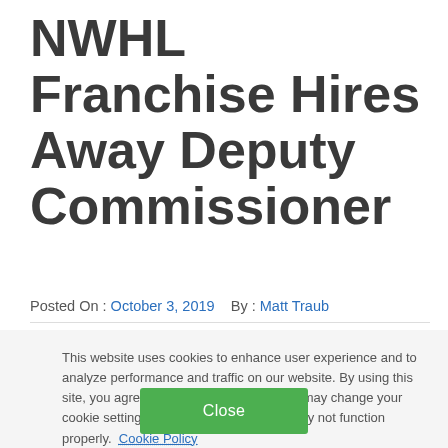NWHL Franchise Hires Away Deputy Commissioner
Posted On : October 3, 2019    By : Matt Traub
This website uses cookies to enhance user experience and to analyze performance and traffic on our website. By using this site, you agree to the use of cookies. You may change your cookie settings at any time, but the site may not function properly.  Cookie Policy
Close